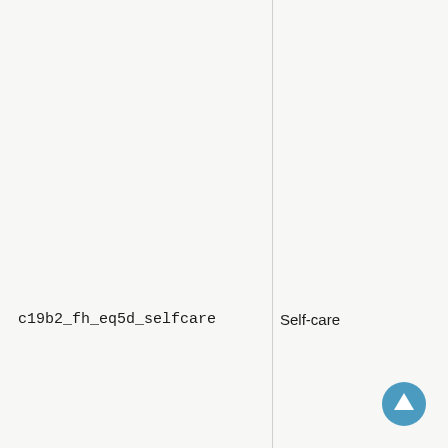c19b2_fh_eq5d_selfcare
Self-care
[Figure (other): Scroll-to-top button arrow icon in blue circle]